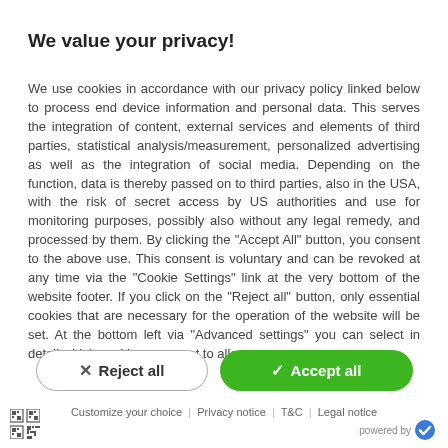We value your privacy!
We use cookies in accordance with our privacy policy linked below to process end device information and personal data. This serves the integration of content, external services and elements of third parties, statistical analysis/measurement, personalized advertising as well as the integration of social media. Depending on the function, data is thereby passed on to third parties, also in the USA, with the risk of secret access by US authorities and use for monitoring purposes, possibly also without any legal remedy, and processed by them. By clicking the "Accept All" button, you consent to the above use. This consent is voluntary and can be revoked at any time via the "Cookie Settings" link at the very bottom of the website footer. If you click on the "Reject all" button, only essential cookies that are necessary for the operation of the website will be set. At the bottom left via "Advanced settings" you can select in detail which cookies you want to allow.
✗ Reject all
✓ Accept all
Customize your choice | Privacy notice | T&C | Legal notice
powered by